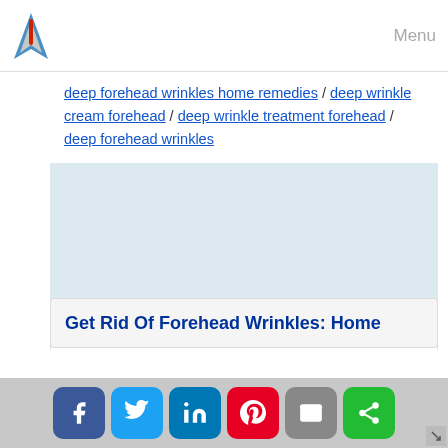Menu
deep forehead wrinkles home remedies / deep wrinkle cream forehead / deep wrinkle treatment forehead / deep forehead wrinkles
Get Rid Of Forehead Wrinkles: Home
[Figure (screenshot): Social sharing bar with Facebook, Twitter, LinkedIn, Pinterest, Email, and Share buttons]